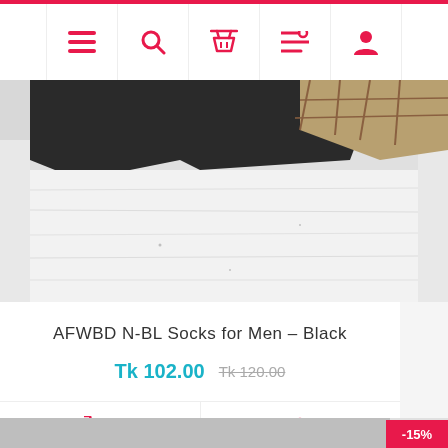Navigation bar with menu, search, cart, list, and user icons
[Figure (photo): Close-up photo of black and plaid socks on white fabric background]
AFWBD N-BL Socks for Men – Black
Tk 102.00  Tk 120.00 (strikethrough)
[Figure (infographic): Add to cart and basket action buttons]
[Figure (photo): Bottom product strip with -15% discount badge]